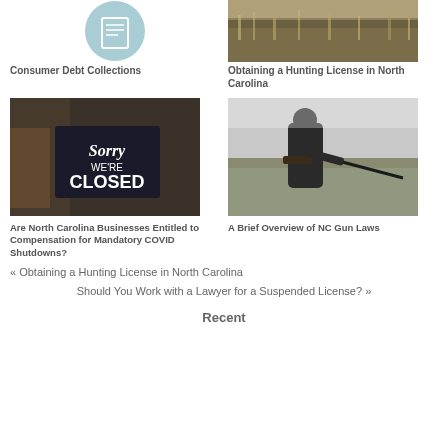[Figure (illustration): Teal circle icon with document/page graphic inside]
[Figure (photo): Outdoor hunting scene with tall golden grasses/reeds]
Consumer Debt Collections
Obtaining a Hunting License in North Carolina
[Figure (photo): Photo of a store window sign reading Sorry WE'RE CLOSED]
[Figure (photo): Photo of a hunter in camouflage holding a rifle in an open field]
Are North Carolina Businesses Entitled to Compensation for Mandatory COVID Shutdowns?
A Brief Overview of NC Gun Laws
« Obtaining a Hunting License in North Carolina
Should You Work with a Lawyer for a Suspended License? »
Recent